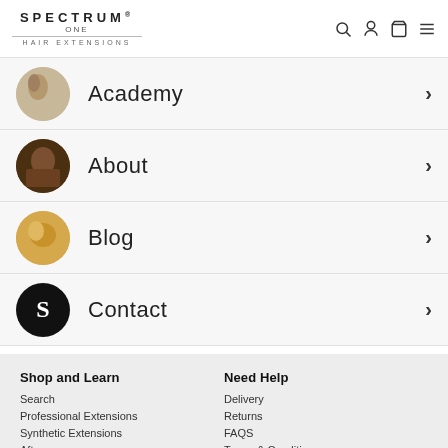SPECTRUM ONE HAIR EXTENSIONS
Academy
About
Blog
Contact
Shop and Learn
Need Help
Search
Delivery
Professional Extensions
Returns
Synthetic Extensions
FAQS
Aftercare
Terms & Conditions